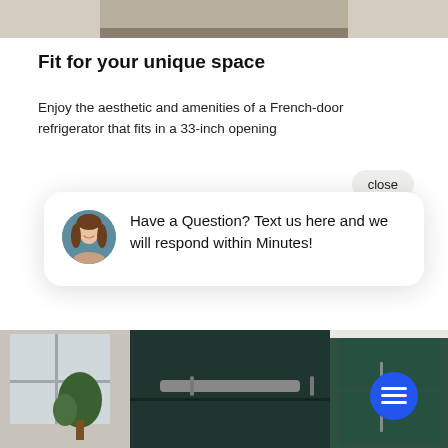[Figure (photo): Top portion of a refrigerator or kitchen appliance photo, cropped at the top of the page]
Fit for your unique space
Enjoy the aesthetic and amenities of a French-door refrigerator that fits in a 33-inch opening
close
[Figure (screenshot): Chat popup widget with a woman avatar and text: Have a Question? Text us here and we will respond within Minutes!]
[Figure (photo): Bottom portion showing a dark green kitchen with open refrigerator drawer and cabinetry, with a blue circular chat button in the lower right]